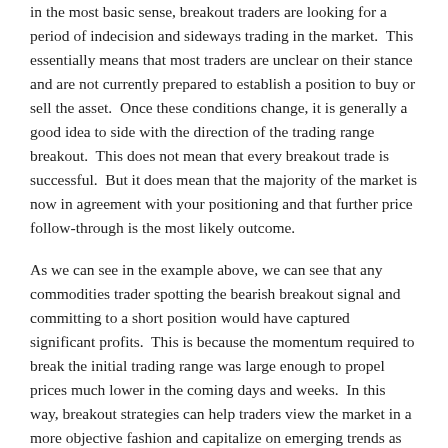in the most basic sense, breakout traders are looking for a period of indecision and sideways trading in the market.  This essentially means that most traders are unclear on their stance and are not currently prepared to establish a position to buy or sell the asset.  Once these conditions change, it is generally a good idea to side with the direction of the trading range breakout.  This does not mean that every breakout trade is successful.  But it does mean that the majority of the market is now in agreement with your positioning and that further price follow-through is the most likely outcome.
As we can see in the example above, we can see that any commodities trader spotting the bearish breakout signal and committing to a short position would have captured significant profits.  This is because the momentum required to break the initial trading range was large enough to propel prices much lower in the coming days and weeks.  In this way, breakout strategies can help traders view the market in a more objective fashion and capitalize on emerging trends as they are still in